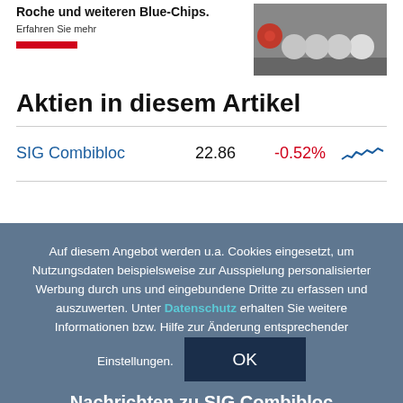Roche und weiteren Blue-Chips.
Erfahren Sie mehr
Aktien in diesem Artikel
| Name | Kurs | Änderung | Chart |
| --- | --- | --- | --- |
| SIG Combibloc | 22.86 | -0.52% | ~ |
Auf diesem Angebot werden u.a. Cookies eingesetzt, um Nutzungsdaten beispielsweise zur Ausspielung personalisierter Werbung durch uns und eingebundene Dritte zu erfassen und auszuwerten. Unter Datenschutz erhalten Sie weitere Informationen bzw. Hilfe zur Änderung entsprechender Einstellungen.
Nachrichten zu SIG Combibloc